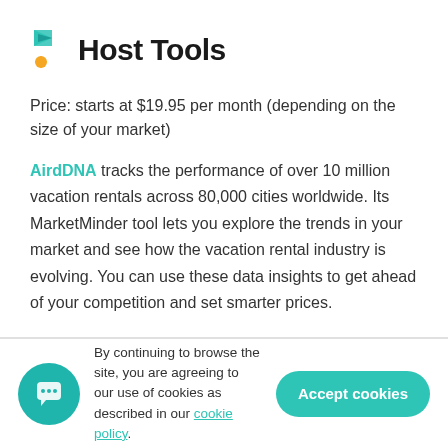[Figure (logo): Host Tools logo: teal and yellow angular shapes forming a decorative icon, followed by bold text 'Host Tools']
Price: starts at $19.95 per month (depending on the size of your market)
AirdDNA tracks the performance of over 10 million vacation rentals across 80,000 cities worldwide. Its MarketMinder tool lets you explore the trends in your market and see how the vacation rental industry is evolving. You can use these data insights to get ahead of your competition and set smarter prices.
By continuing to browse the site, you are agreeing to our use of cookies as described in our cookie policy.